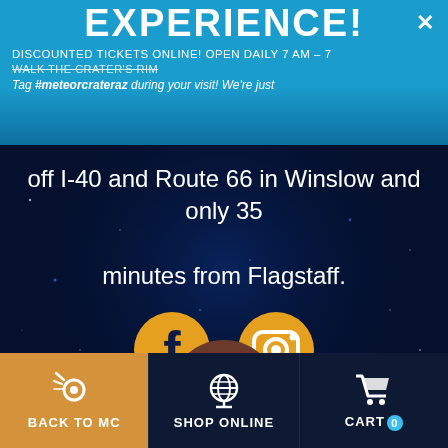EXPERIENCE!
DISCOUNTED TICKETS ONLINE! OPEN DAILY 7 AM – 7
WALK THE CRATER'S RIM
Tag #meteorcrateraz during your visit! We're just off I-40 and Route 66 in Winslow and only 35 minutes from Flagstaff.
[Figure (logo): Facebook golden circular icon with white F]
[Figure (logo): Instagram golden circular icon with camera outline]
[Figure (illustration): Brown circle with white letter C - user avatar]
BACK TO MC
SHOP ONLINE
CART 0